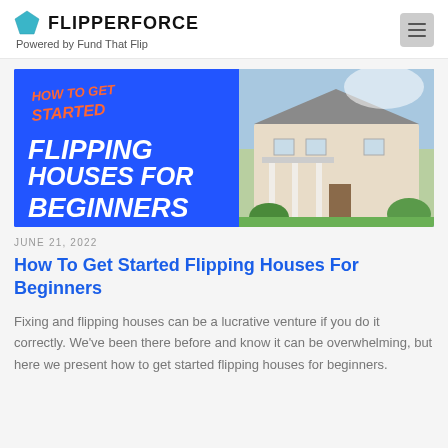FLIPPERFORCE — Powered by Fund That Flip
[Figure (illustration): Banner image showing a house flip guide: blue background with bold white italic text 'FLIPPING HOUSES FOR BEGINNERS', orange handwritten text 'HOW TO GET STARTED' at top left, and a photo of a white colonial-style house on the right.]
JUNE 21, 2022
How To Get Started Flipping Houses For Beginners
Fixing and flipping houses can be a lucrative venture if you do it correctly. We've been there before and know it can be overwhelming, but here we present how to get started flipping houses for beginners.